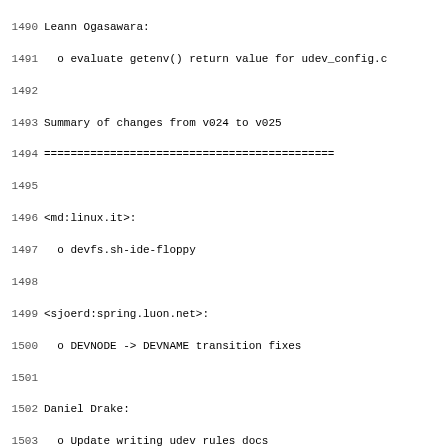1490 Leann Ogasawara:
1491   o evaluate getenv() return value for udev_config.c
1492
1493 Summary of changes from v024 to v025
1494 ============================================
1495
1496 <md:linux.it>:
1497   o devfs.sh-ide-floppy
1498
1499 <sjoerd:spring.luon.net>:
1500   o DEVNODE -> DEVNAME transition fixes
1501
1502 Daniel Drake:
1503   o Update writing udev rules docs
1504
1505 Greg Kroah-Hartman:
1506   o make dev.d call each directory in the directory cha
1507   o add devd_test script
1508   o add more permissions based on SuSE's recommendation
1509   o added rules for tun and raw devices
1510   o add udev conf.d file
1511   o Switch the default config to point to a directory f
1512   o update the Red Hat .dev files to work on other dist
1513   o add dbus.dev, pam_console.dev and selinux.dev files
1514   o add hints for red hat users from Leann Ogasawara <o
1515   o add scripts to run gcov for udev from Leann Ogasawa
1516   o change permissions on udevd test scripts
1517   o Fix build process for users who have LC_ALL set to
1518   o Added expanded tests to the test framework from Lea
1519   o added execelent "writing udev rules" document from
1520   o added rule to put USB printers in their proper plac
1521   o added rules for CAPI devices
1522   o added a dev.d alsa script to help people out